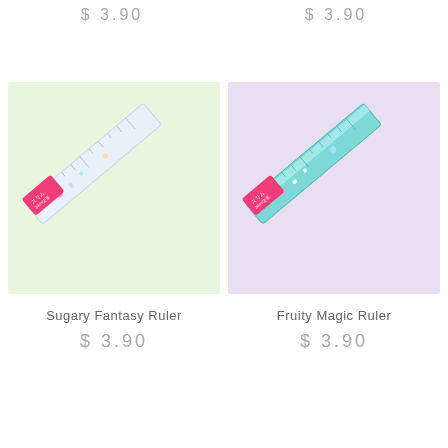$ 3.90
$ 3.90
[Figure (photo): Sugary Fantasy Ruler in clear packaging with pink label, on green background]
[Figure (photo): Fruity Magic Ruler in light blue/teal color with pink label, on lavender background]
Sugary Fantasy Ruler
Fruity Magic Ruler
$ 3.90
$ 3.90